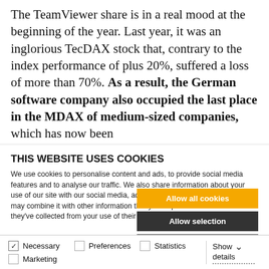The TeamViewer share is in a real mood at the beginning of the year. Last year, it was an inglorious TecDAX stock that, contrary to the index performance of plus 20%, suffered a loss of more than 70%. As a result, the German software company also occupied the last place in the MDAX of medium-sized companies, which has now been
THIS WEBSITE USES COOKIES
We use cookies to personalise content and ads, to provide social media features and to analyse our traffic. We also share information about your use of our site with our social media, advertising and analytics partners who may combine it with other information that you've provided to them or that they've collected from your use of their services.
Allow all cookies
Allow selection
Use necessary cookies only
Necessary  Preferences  Statistics  Show details  Marketing